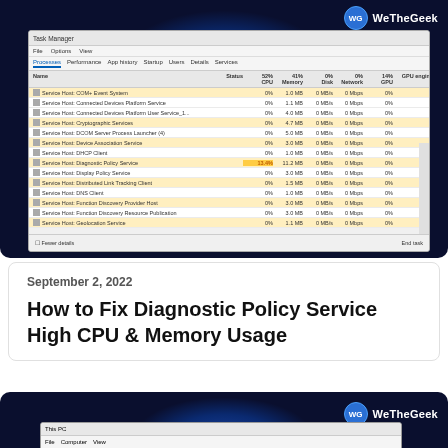[Figure (screenshot): Windows Task Manager screenshot showing Service Host: Diagnostic Policy Service highlighted in orange with high CPU usage (13.4%), on a dark blue background. WeTheGeek logo visible in top right.]
September 2, 2022
How to Fix Diagnostic Policy Service High CPU & Memory Usage
[Figure (screenshot): Windows File Explorer (This PC) screenshot on dark blue background. WeTheGeek logo visible in top right.]